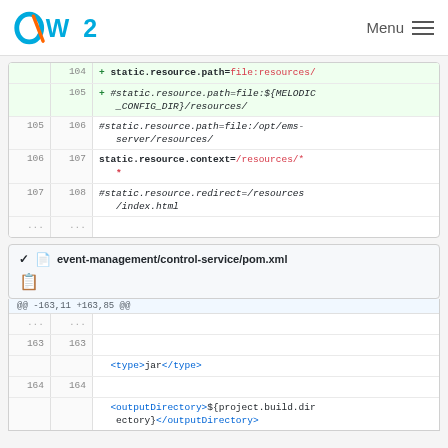OW2 Menu
[Figure (screenshot): Code diff showing static resource path configuration lines 104-108 with additions highlighted in green]
event-management/control-service/pom.xml
[Figure (screenshot): Code diff showing pom.xml lines 163-164 with <type>jar</type> and <outputDirectory> XML tags]